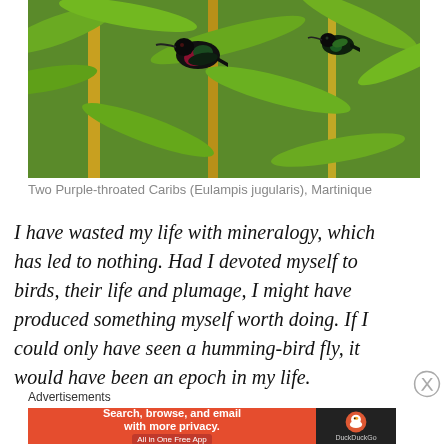[Figure (photo): Two Purple-throated Carib hummingbirds perched among green bamboo leaves and yellow stems in Martinique. The birds are dark with iridescent coloring.]
Two Purple-throated Caribs (Eulampis jugularis), Martinique
I have wasted my life with mineralogy, which has led to nothing. Had I devoted myself to birds, their life and plumage, I might have produced something myself worth doing. If I could only have seen a humming-bird fly, it would have been an epoch in my life.
Advertisements
[Figure (screenshot): DuckDuckGo advertisement banner: orange section says 'Search, browse, and email with more privacy. All in One Free App'; dark section shows DuckDuckGo logo and duck icon.]